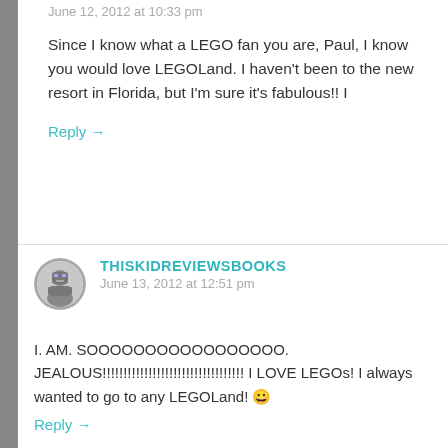June 12, 2012 at 10:33 pm
Since I know what a LEGO fan you are, Paul, I know you would love LEGOLand. I haven't been to the new resort in Florida, but I'm sure it's fabulous!! I
Reply →
THISKIDREVIEWSBOOKS
June 13, 2012 at 12:51 pm
I. AM. SOOOOOOOOOOOOOOOOO. JEALOUS!!!!!!!!!!!!!!!!!!!!!!!!!!!!!!!!!! I LOVE LEGOs! I always wanted to go to any LEGOLand! 😀
Reply →